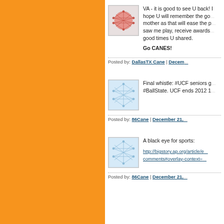[Figure (illustration): Red/pink abstract network avatar icon]
VA - it is good to see U back! I hope U will remember the good times with your mother as that will ease the pain. She saw me play, receive awards, and the good times U shared.

Go CANES!
Posted by: DallasTX Cane | Decem...
[Figure (illustration): Light blue abstract network avatar icon]
Final whistle: #UCF seniors g... #BallState. UCF ends 2012 1...
Posted by: 86Cane | December 21,...
[Figure (illustration): Light blue abstract network avatar icon]
A black eye for sports:

http://bigstory.ap.org/article/e... comments#overlay-context=...
Posted by: 86Cane | December 21,...